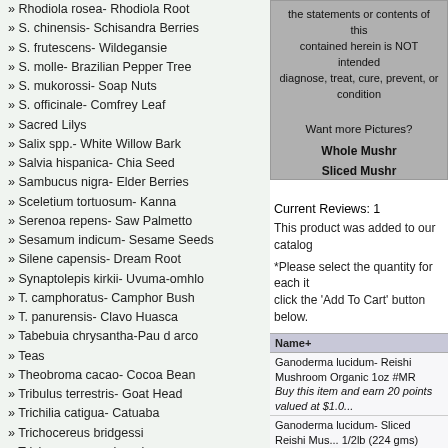» Rhodiola rosea- Rhodiola Root
» S. chinensis- Schisandra Berries
» S. frutescens- Wildegansie
» S. molle- Brazilian Pepper Tree
» S. mukorossi- Soap Nuts
» S. officinale- Comfrey Leaf
» Sacred Lilys
» Salix spp.- White Willow Bark
» Salvia hispanica- Chia Seed
» Sambucus nigra- Elder Berries
» Sceletium tortuosum- Kanna
» Serenoa repens- Saw Palmetto
» Sesamum indicum- Sesame Seeds
» Silene capensis- Dream Root
» Synaptolepis kirkii- Uvuma-omhlo
» T. camphoratus- Camphor Bush
» T. panurensis- Clavo Huasca
» Tabebuia chrysantha-Pau d arco
» Teas
» Theobroma cacao- Cocoa Bean
» Tribulus terrestris- Goat Head
» Trichilia catigua- Catuaba
» Trichocereus bridgessi
» Trichocereus pachanoi
» Trichocereus peruvianus
the statements or contents of this contained herein is NOT intended diagnose, treat, cure, prevent, or condition
Want more Pictures?
Whole Mushr
Sliced Mushr
Current Reviews: 1
This product was added to our catalog
*Please select the quantity for each item click the 'Add To Cart' button below.
| Name+ |
| --- |
| Ganoderma lucidum- Reishi Mushroom Organic 1oz #MR
Buy this item and earn 20 points valued at $1.0... |
| Ganoderma lucidum- Sliced Reishi Mus... 1/2lb (224 gms) #MR
Buy this item and earn 20 points valued at $1.0... |
| Ganoderma lucidum- Whole Reishi Mus... 1/2lb (224 gms) #MR
Buy this item and earn 24 points valued at $1.2... |
| Ganoderma lucidum- Sliced Reishi Mus... (448 gms) #MR
Buy this item and earn 36 points valued at $1.7... |